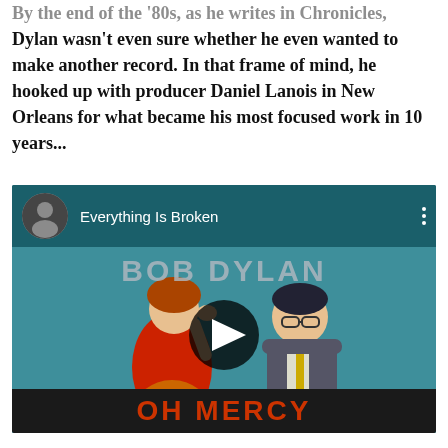By the end of the '80s, as he writes in Chronicles, Dylan wasn't even sure whether he even wanted to make another record. In that frame of mind, he hooked up with producer Daniel Lanois in New Orleans for what became his most focused work in 10 years...
[Figure (screenshot): YouTube video thumbnail showing Bob Dylan 'Everything Is Broken' video. Features album art for 'Oh Mercy' with illustrated figures on a colorful background. Top bar shows circular avatar of Bob Dylan photo, video title 'Everything Is Broken', and three-dot menu. Play button overlay in center. 'BOB DYLAN' text at top and 'OH MERCY' in red text at bottom of thumbnail.]